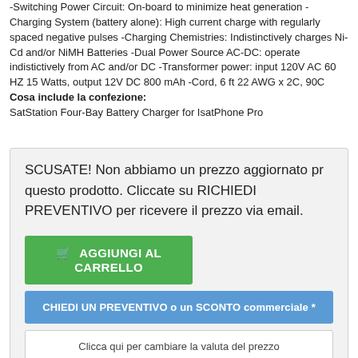-Switching Power Circuit: On-board to minimize heat generation -Charging System (battery alone): High current charge with regularly spaced negative pulses -Charging Chemistries: Indistinctively charges Ni-Cd and/or NiMH Batteries -Dual Power Source AC-DC: operate indistictively from AC and/or DC -Transformer power: input 120V AC 60 HZ 15 Watts, output 12V DC 800 mAh -Cord, 6 ft 22 AWG x 2C, 90C
Cosa include la confezione:
SatStation Four-Bay Battery Charger for IsatPhone Pro
SCUSATE! Non abbiamo un prezzo aggiornato pr questo prodotto. Cliccate su RICHIEDI PREVENTIVO per ricevere il prezzo via email.
AGGIUNGI AL CARRELLO
CHIEDI UN PREVENTIVO o un SCONTO commerciale *
Clicca qui per cambiare la valuta del prezzo